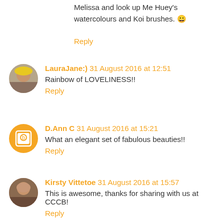Melissa and look up Me Huey's watercolours and Koi brushes. 😀
Reply
LauraJane:) 31 August 2016 at 12:51
Rainbow of LOVELINESS!!
Reply
D.Ann C 31 August 2016 at 15:21
What an elegant set of fabulous beauties!!
Reply
Kirsty Vittetoe 31 August 2016 at 15:57
This is awesome, thanks for sharing with us at CCCB!
Reply